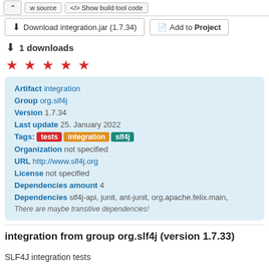w source  </> Show build tool code
Download integration.jar (1.7.34)   Add to Project
1 downloads
★ ★ ★ ★ ★ (stars)
Artifact integration
Group org.slf4j
Version 1.7.34
Last update 25. January 2022
Tags: tests integration slf4j
Organization not specified
URL http://www.slf4j.org
License not specified
Dependencies amount 4
Dependencies slf4j-api, junit, ant-junit, org.apache.felix.main,
There are maybe transitive dependencies!
integration from group org.slf4j (version 1.7.33)
SLF4J integration tests